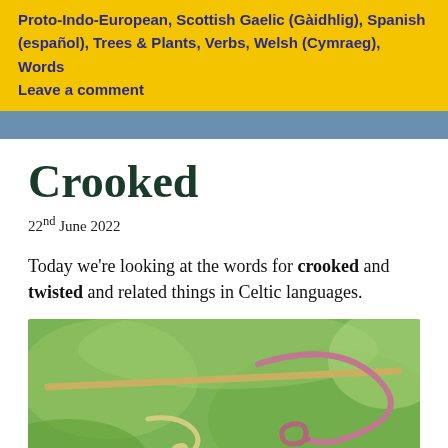Proto-Indo-European, Scottish Gaelic (Gàidhlig), Spanish (español), Trees & Plants, Verbs, Welsh (Cymraeg), Words
Leave a comment
Crooked
22nd June 2022
Today we're looking at the words for crooked and twisted and related things in Celtic languages.
[Figure (photo): Close-up photo of a crooked, twisted plant tendril curling around a straight stem, against a blurred green background.]